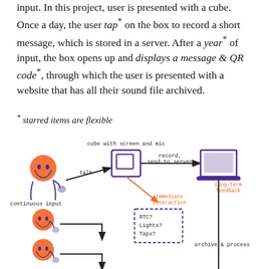input. In this project, user is presented with a cube. Once a day, the user tap* on the box to record a short message, which is stored in a server. After a year* of input, the box opens up and displays a message & QR code*, through which the user is presented with a website that has all their sound file archived.
* starred items are flexible
[Figure (flowchart): System diagram showing continuous user input (person figures speaking to a cube with screen and mic), which sends audio via 'talk' arrow, then 'record, send to server' arrow to a laptop. A dashed box shows 'Immediate interaction' with RTC?, Lights?, Taps? options. The laptop gives 'long-term feedback' and leads to 'archive & process'.]